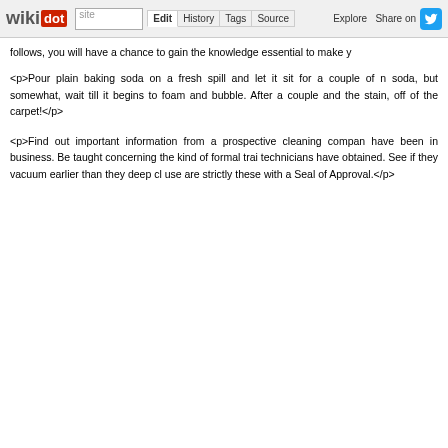wikidot | site Edit History Tags Source Explore Share on Twitter
follows, you will have a chance to gain the knowledge essential to make y
<p>Pour plain baking soda on a fresh spill and let it sit for a couple of n soda, but somewhat, wait till it begins to foam and bubble. After a couple and the stain, off of the carpet!</p>
<p>Find out important information from a prospective cleaning compan have been in business. Be taught concerning the kind of formal trai technicians have obtained. See if they vacuum earlier than they deep cl use are strictly these with a Seal of Approval.</p>